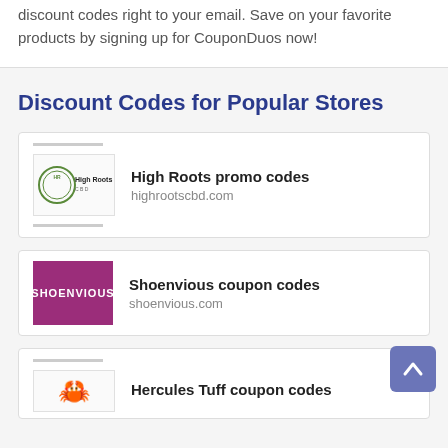discount codes right to your email. Save on your favorite products by signing up for CouponDuos now!
Discount Codes for Popular Stores
High Roots promo codes
highrootscbd.com
Shoenvious coupon codes
shoenvious.com
Hercules Tuff coupon codes